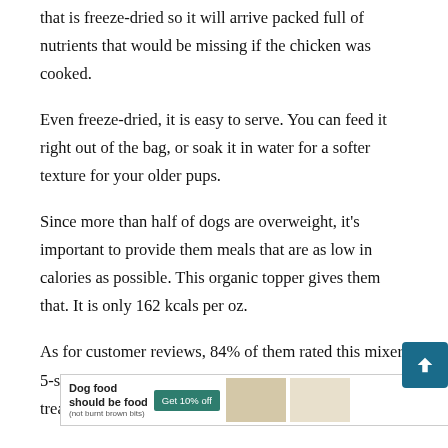that is freeze-dried so it will arrive packed full of nutrients that would be missing if the chicken was cooked.
Even freeze-dried, it is easy to serve. You can feed it right out of the bag, or soak it in water for a softer texture for your older pups.
Since more than half of dogs are overweight, it's important to provide them meals that are as low in calories as possible. This organic topper gives them that. It is only 162 kcals per oz.
As for customer reviews, 84% of them rated this mixer 5-stars. The treats are very dry so you can use them treats and your
[Figure (screenshot): Advertisement banner: 'Dog food should be food (not burnt brown bits)' with a teal 'Get 10% off' button, a close (X) button, and an image of a dog.]